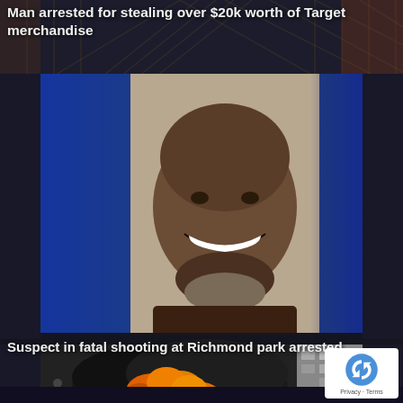Man arrested for stealing over $20k worth of Target merchandise
[Figure (photo): Mugshot of a smiling bald Black man against a blue gradient background]
Suspect in fatal shooting at Richmond park arrested
[Figure (photo): Image of a large fire with orange flames and smoke in front of a multi-story building]
[Figure (logo): reCAPTCHA logo with Privacy and Terms links]